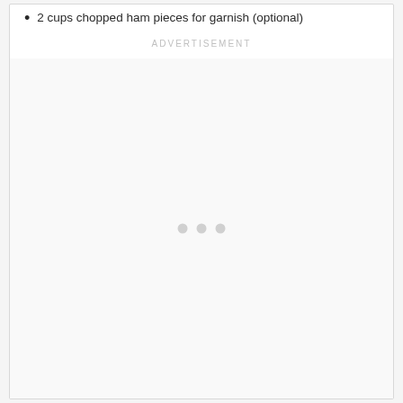2 cups chopped ham pieces for garnish (optional)
ADVERTISEMENT
[Figure (other): Advertisement loading area with three grey dots indicating loading state]